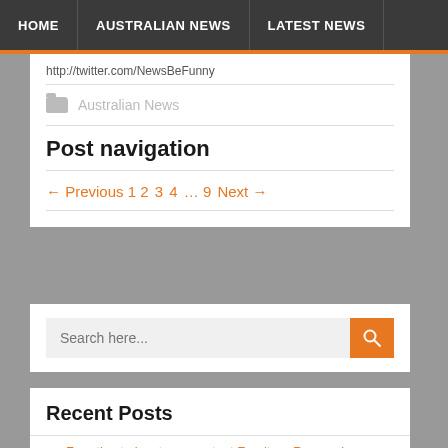HOME | AUSTRALIAN NEWS | LATEST NEWS
http://twitter.com/NewsBeFunny
Australian News
Post navigation
← Previous 1 2 3 4 … 9 Next →
Search here...
Recent Posts
Four tips to locate competent Furniture Removal Company
Australian Sport Gains Popularity in the U.S. | ABC News